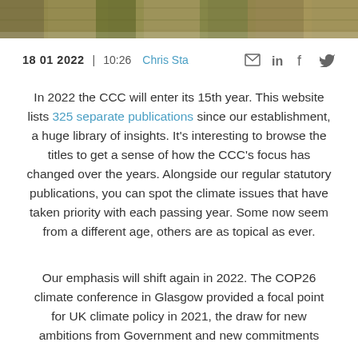[Figure (photo): Cropped nature/outdoor photograph at top of page showing foliage]
18 01 2022 | 10:26  Chris Sta
In 2022 the CCC will enter its 15th year. This website lists 325 separate publications since our establishment, a huge library of insights. It's interesting to browse the titles to get a sense of how the CCC's focus has changed over the years. Alongside our regular statutory publications, you can spot the climate issues that have taken priority with each passing year. Some now seem from a different age, others are as topical as ever.
Our emphasis will shift again in 2022. The COP26 climate conference in Glasgow provided a focal point for UK climate policy in 2021, the draw for new ambitions from Government and new commitments